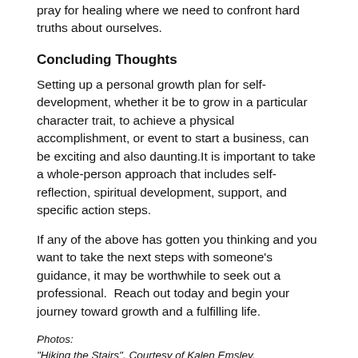pray for healing where we need to confront hard truths about ourselves.
Concluding Thoughts
Setting up a personal growth plan for self-development, whether it be to grow in a particular character trait, to achieve a physical accomplishment, or event to start a business, can be exciting and also daunting.It is important to take a whole-person approach that includes self-reflection, spiritual development, support, and specific action steps.
If any of the above has gotten you thinking and you want to take the next steps with someone's guidance, it may be worthwhile to seek out a professional.  Reach out today and begin your journey toward growth and a fulfilling life.
Photos:
"Hiking the Stairs", Courtesy of Kalen Emsley, Unsplash.com, CC0 License;
"Yellow Poppies", Courtesy of Sergey Shmidt, Unsplash.com, CC0 License;
"Tree Branch", Courtesy of Taha Mazandarani, Unsplash.com, CC0